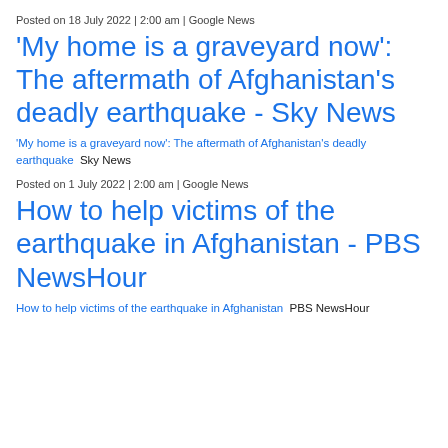Posted on 18 July 2022 | 2:00 am | Google News
'My home is a graveyard now': The aftermath of Afghanistan's deadly earthquake - Sky News
'My home is a graveyard now': The aftermath of Afghanistan's deadly earthquake  Sky News
Posted on 1 July 2022 | 2:00 am | Google News
How to help victims of the earthquake in Afghanistan - PBS NewsHour
How to help victims of the earthquake in Afghanistan  PBS NewsHour